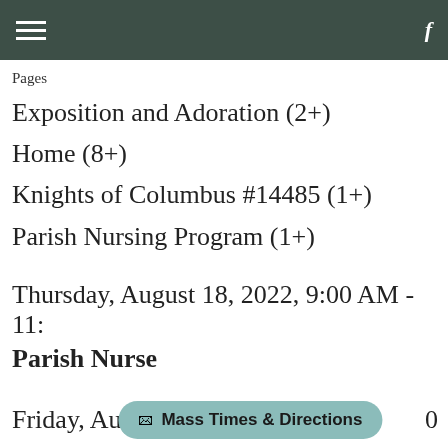Pages
Exposition and Adoration (2+)
Home (8+)
Knights of Columbus #14485 (1+)
Parish Nursing Program (1+)
Thursday, August 18, 2022, 9:00 AM - 11:
Parish Nurse
Friday, August
Mass Times & Directions